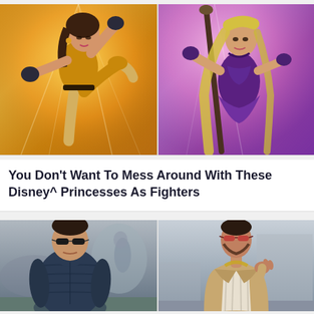[Figure (illustration): Two-panel image: left panel shows Belle from Beauty and the Beast reimagined as a fighter in a golden outfit with fighting gloves, kicking pose on yellow/orange background. Right panel shows Rapunzel reimagined as a fighter in purple outfit holding a staff/weapon on pink/purple background.]
You Don't Want To Mess Around With These Disney^ Princesses As Fighters
[Figure (photo): Two-panel image: left panel shows a heavyset man wearing sunglasses and a large dark blue puffer jacket on a street. Right panel shows a slim man with a beard wearing sunglasses, a tan/beige blazer and striped shirt, making a pointing gesture.]